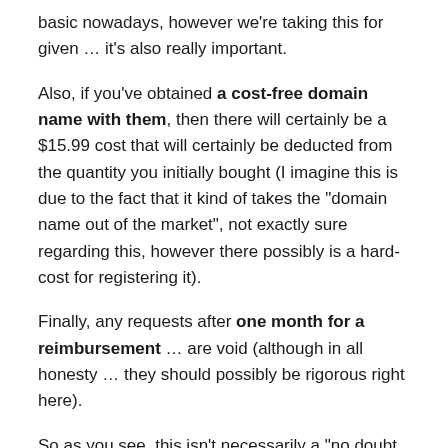basic nowadays, however we're taking this for given … it's also really important.
Also, if you've obtained a cost-free domain name with them, then there will certainly be a $15.99 cost that will certainly be deducted from the quantity you initially bought (I imagine this is due to the fact that it kind of takes the "domain name out of the market", not exactly sure regarding this, however there possibly is a hard-cost for registering it).
Finally, any requests after one month for a reimbursement … are void (although in all honesty … they should possibly be rigorous right here).
So as you see, this isn't necessarily a "no doubt asked" policy, like with several of the other hosting choices out there, so be sure you're fine with the policies before proceeding with the hosting.